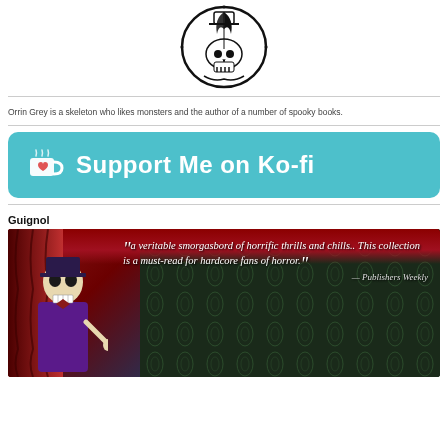[Figure (logo): Gothic skull with quill pen logo, black ink on white background]
Orrin Grey is a skeleton who likes monsters and the author of a number of spooky books.
[Figure (infographic): Ko-fi support banner with teal background, heart-cup icon and text 'Support Me on Ko-fi' in white]
Guignol
[Figure (illustration): Book cover art for Guignol showing a skeleton in purple suit on stage with red curtains and dark patterned background. Quote from Publishers Weekly: 'a veritable smorgasbord of horrific thrills and chills.. This collection is a must-read for hardcore fans of horror.']